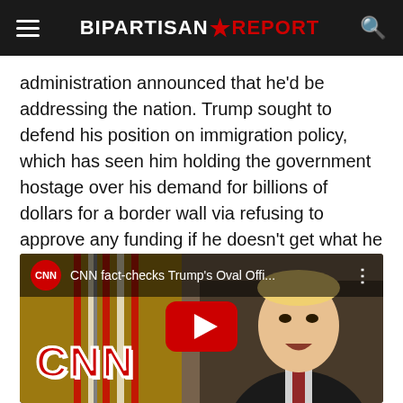BIPARTISAN REPORT
administration announced that he'd be addressing the nation. Trump sought to defend his position on immigration policy, which has seen him holding the government hostage over his demand for billions of dollars for a border wall via refusing to approve any funding if he doesn't get what he wants.
[Figure (screenshot): CNN YouTube video thumbnail showing CNN fact-checks Trump's Oval Offi... with a photo of Donald Trump speaking, a large red YouTube play button in the center, and CNN logo watermark at bottom left.]